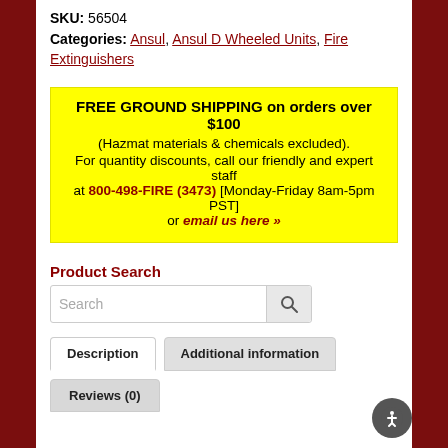SKU: 56504
Categories: Ansul, Ansul D Wheeled Units, Fire Extinguishers
FREE GROUND SHIPPING on orders over $100
(Hazmat materials & chemicals excluded).
For quantity discounts, call our friendly and expert staff at 800-498-FIRE (3473) [Monday-Friday 8am-5pm PST] or email us here »
Product Search
Description | Additional information | Reviews (0)